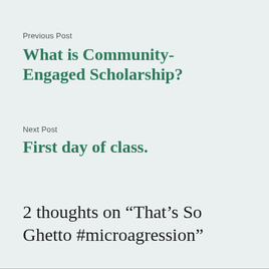Previous Post
What is Community-Engaged Scholarship?
Next Post
First day of class.
2 thoughts on “That’s So Ghetto #microagression”